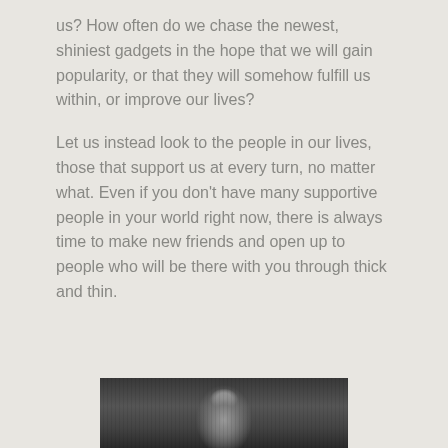us? How often do we chase the newest, shiniest gadgets in the hope that we will gain popularity, or that they will somehow fulfill us within, or improve our lives?
Let us instead look to the people in our lives, those that support us at every turn, no matter what. Even if you don't have many supportive people in your world right now, there is always time to make new friends and open up to people who will be there with you through thick and thin.
[Figure (photo): Black and white photograph showing a person or statue, partially visible at the bottom of the page]